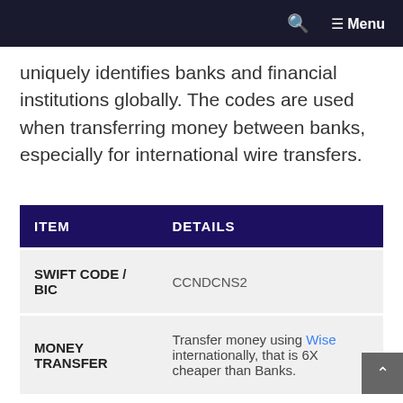Menu
uniquely identifies banks and financial institutions globally. The codes are used when transferring money between banks, especially for international wire transfers.
| ITEM | DETAILS |
| --- | --- |
| SWIFT CODE / BIC | CCNDCNS2 |
| MONEY TRANSFER | Transfer money using Wise internationally, that is 6X cheaper than Banks. |